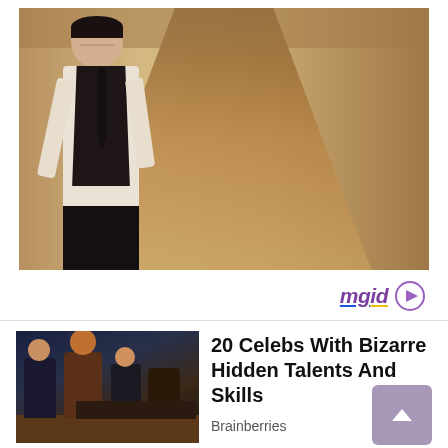[Figure (photo): A young man in a dark vest over a white shirt and dark tie, smiling and walking in a sepia-toned corridor or hallway]
[Figure (logo): mgid logo with play button icon, purple text with blue and yellow underlines]
[Figure (photo): Thumbnail of a TV talk show with multiple people seated on a stage set]
20 Celebs With Bizarre Hidden Talents And Skills
Brainberries